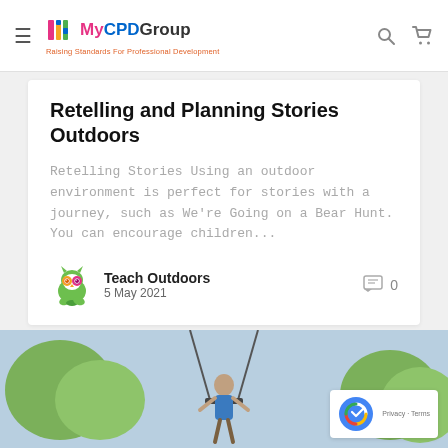MyCPDGroup — Raising Standards For Professional Development
Retelling and Planning Stories Outdoors
Retelling Stories Using an outdoor environment is perfect for stories with a journey, such as We're Going on a Bear Hunt. You can encourage children...
Teach Outdoors
5 May 2021
[Figure (photo): Child on a swing outdoors with trees and sky in background]
[Figure (logo): reCAPTCHA badge with Privacy and Terms links]